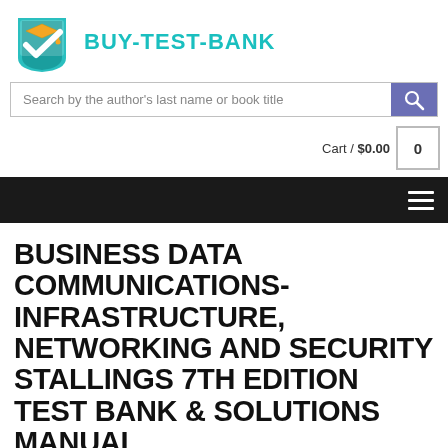[Figure (logo): Buy-Test-Bank website logo: a shield/checkmark icon with graduation cap, teal/green color scheme]
BUY-TEST-BANK
Search by the author's last name or book title
Cart / $0.00  0
BUSINESS DATA COMMUNICATIONS- INFRASTRUCTURE, NETWORKING AND SECURITY STALLINGS 7TH EDITION TEST BANK & SOLUTIONS MANUAL